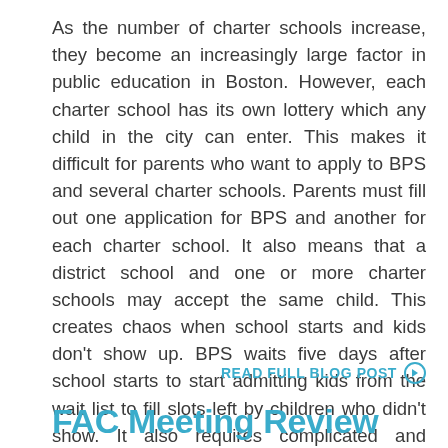As the number of charter schools increase, they become an increasingly large factor in public education in Boston. However, each charter school has its own lottery which any child in the city can enter. This makes it difficult for parents who want to apply to BPS and several charter schools. Parents must fill out one application for BPS and another for each charter school. It also means that a district school and one or more charter schools may accept the same child. This creates chaos when school starts and kids don't show up. BPS waits five days after school starts to start admitting kids from the wait list to fill slots left by children who didn't show. It also requires complicated and expensive busing to accommodate students from all over the...
READ FULL BLOG POST ⊙
FAC Meeting Review